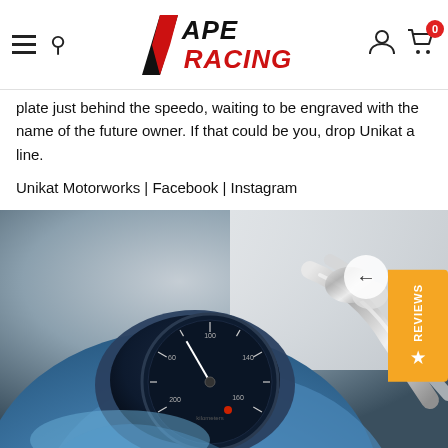APE RACING
plate just behind the speedo, waiting to be engraved with the name of the future owner. If that could be you, drop Unikat a line.
Unikat Motorworks | Facebook | Instagram
[Figure (photo): Close-up photograph of a classic motorcycle's blue dashboard with a round speedometer/tachometer instrument cluster and chrome handlebars visible in the background.]